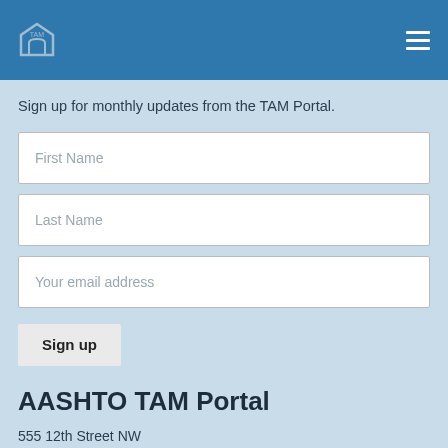AASHTO TAM Portal header navigation
Sign up for monthly updates from the TAM Portal.
First Name
Last Name
Your email address
Sign up
AASHTO TAM Portal
555 12th Street NW
Suite 1000
Washington, DC 20004